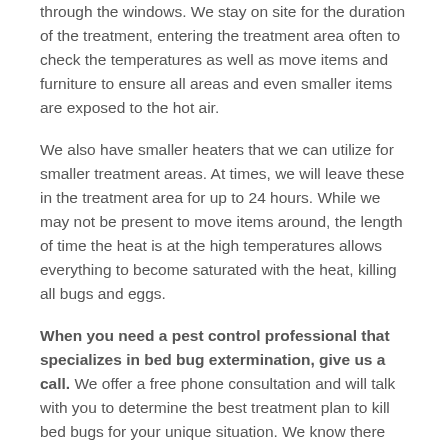through the windows. We stay on site for the duration of the treatment, entering the treatment area often to check the temperatures as well as move items and furniture to ensure all areas and even smaller items are exposed to the hot air.
We also have smaller heaters that we can utilize for smaller treatment areas. At times, we will leave these in the treatment area for up to 24 hours. While we may not be present to move items around, the length of time the heat is at the high temperatures allows everything to become saturated with the heat, killing all bugs and eggs.
When you need a pest control professional that specializes in bed bug extermination, give us a call. We offer a free phone consultation and will talk with you to determine the best treatment plan to kill bed bugs for your unique situation. We know there can be many scenarios and bed bug infestation and we are not just a one size fits all company. We want to help you with